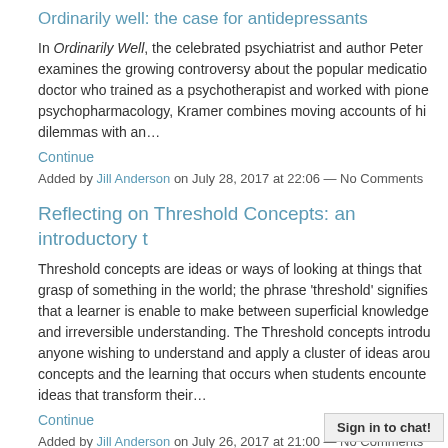Ordinarily well: the case for antidepressants
In Ordinarily Well, the celebrated psychiatrist and author Peter examines the growing controversy about the popular medicatio doctor who trained as a psychotherapist and worked with pione psychopharmacology, Kramer combines moving accounts of hi dilemmas with an…
Continue
Added by Jill Anderson on July 28, 2017 at 22:06 — No Comments
Reflecting on Threshold Concepts: an introductory t
Threshold concepts are ideas or ways of looking at things that grasp of something in the world; the phrase 'threshold' signifies that a learner is enable to make between superficial knowledge and irreversible understanding. The Threshold concepts introdu anyone wishing to understand and apply a cluster of ideas arou concepts and the learning that occurs when students encounte ideas that transform their…
Continue
Added by Jill Anderson on July 26, 2017 at 21:00 — No Comments
Sign in to chat!